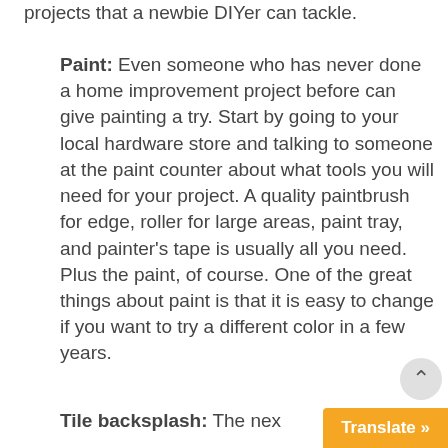projects that a newbie DIYer can tackle.
Paint: Even someone who has never done a home improvement project before can give painting a try. Start by going to your local hardware store and talking to someone at the paint counter about what tools you will need for your project. A quality paintbrush for edge, roller for large areas, paint tray, and painter's tape is usually all you need. Plus the paint, of course. One of the great things about paint is that it is easy to change if you want to try a different color in a few years.
Tile backsplash: The nex…